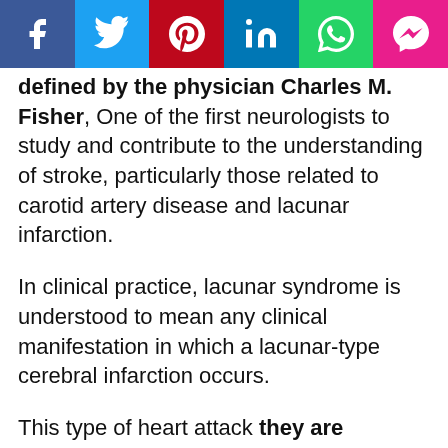[Figure (other): Social media sharing bar with icons for Facebook, Twitter, Pinterest, LinkedIn, WhatsApp, and Messenger]
defined by the physician Charles M. Fisher, One of the first neurologists to study and contribute to the understanding of stroke, particularly those related to carotid artery disease and lacunar infarction.
In clinical practice, lacunar syndrome is understood to mean any clinical manifestation in which a lacunar-type cerebral infarction occurs.
This type of heart attack they are characterized by the presence of tiny lesions (No more than 15 mm in diameter) caused by occlusion of small branches of the perforating arteries of the brain.